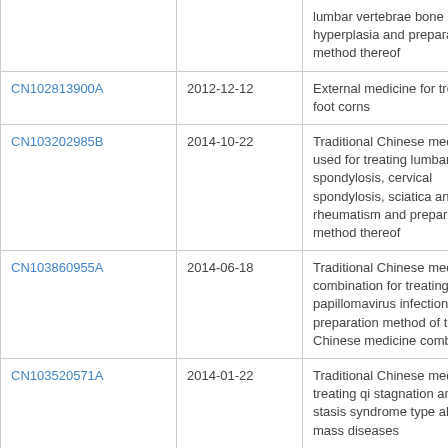| Publication number | Publication date | Title |
| --- | --- | --- |
|  |  | lumbar vertebrae bone hyperplasia and preparation method thereof |
| CN102813900A | 2012-12-12 | External medicine for treating foot corns |
| CN103202985B | 2014-10-22 | Traditional Chinese medicine used for treating lumbar spondylosis, cervical spondylosis, sciatica and rheumatism and preparation method thereof |
| CN103860955A | 2014-06-18 | Traditional Chinese medicine combination for treating human papillomavirus infection and preparation method of traditional Chinese medicine combination |
| CN103520571A | 2014-01-22 | Traditional Chinese medicine for treating qi stagnation and blood stasis syndrome type abdominal mass diseases |